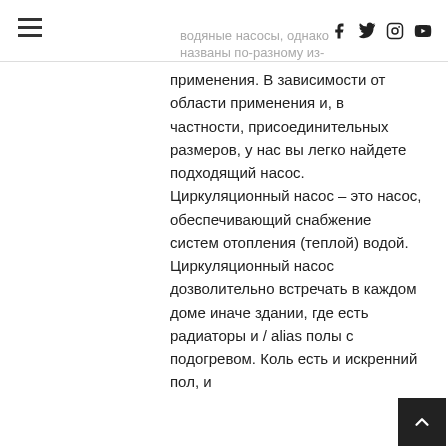водяные насосы, однако названы по-разному из-за применения.
применения. В зависимости от области применения и, в частности, присоединительных размеров, у нас вы легко найдете подходящий насос. Циркуляционный насос – это насос, обеспечивающий снабжение систем отопления (теплой) водой. Циркуляционный насос дозволительно встречать в каждом доме иначе здании, где есть радиаторы и / alias полы с подогревом. Коль есть и искренний пол, и